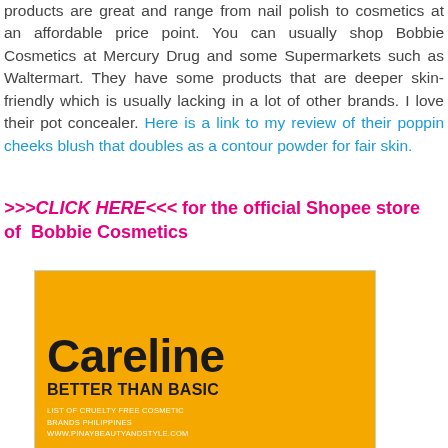products are great and range from nail polish to cosmetics at an affordable price point. You can usually shop Bobbie Cosmetics at Mercury Drug and some Supermarkets such as Waltermart. They have some products that are deeper skin-friendly which is usually lacking in a lot of other brands. I love their pot concealer. Here is a link to my review of their poppin cheeks blush that doubles as a contour powder for fair skin.
>>>CLICK HERE<<< for the official Shopee store of Bobbie Cosmetics
[Figure (logo): Yellow background image with Careline brand logo. Large bold black text reading 'Careline', below it bold black text 'BETTER THAN BASIC', and small white text 'LIST OF CRUELTY FREE COSMETIC BRANDS PHILIPPINES WWW.PINAYBEAUTYANDSTYLE.COM']